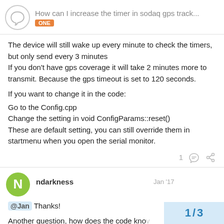How can I increase the timer in sodaq gps track... ONE
The device will still wake up every minute to check the timers, but only send every 3 minutes
If you don't have gps coverage it will take 2 minutes more to transmit. Because the gps timeout is set to 120 seconds.

If you want to change it in the code:
Go to the Config.cpp
Change the setting in void ConfigParams::reset()
These are default setting, you can still override them in startmenu when you open the serial monitor.
1
ndarkness  Jan '17
@Jan Thanks!

Another question, how does the code kno
1 / 3